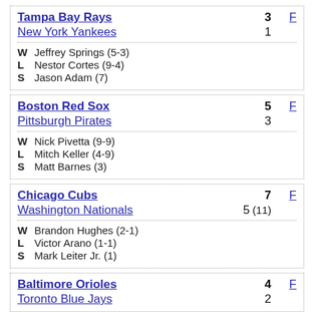| Team | Score | Status |
| --- | --- | --- |
| Tampa Bay Rays | 3 | F |
| New York Yankees | 1 |  |
| W | Jeffrey Springs (5-3) |  |
| L | Nestor Cortes (9-4) |  |
| S | Jason Adam (7) |  |
| Team | Score | Status |
| --- | --- | --- |
| Boston Red Sox | 5 | F |
| Pittsburgh Pirates | 3 |  |
| W | Nick Pivetta (9-9) |  |
| L | Mitch Keller (4-9) |  |
| S | Matt Barnes (3) |  |
| Team | Score | Status |
| --- | --- | --- |
| Chicago Cubs | 7 | F |
| Washington Nationals | 5 (11) |  |
| W | Brandon Hughes (2-1) |  |
| L | Victor Arano (1-1) |  |
| S | Mark Leiter Jr. (1) |  |
| Team | Score | Status |
| --- | --- | --- |
| Baltimore Orioles | 4 | F |
| Toronto Blue Jays | 2 |  |